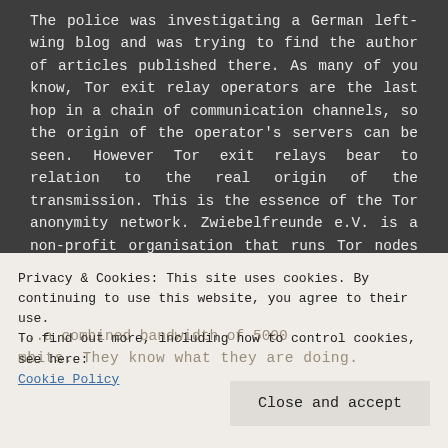The police was investigating a German left-wing blog and was trying to find the author of articles published there. As many of you know, Tor exit relay operators are the last hop in a chain of communication channels, so the origin of the operator's servers can be seen. However Tor exit relays bear to relation to the real origin of the transmission. This is the essence of the Tor anonymity network. Zwiebelfreunde e.V. is a non-profit organisation that runs Tor nodes for anyone donating money (realised by
Privacy & Cookies: This site uses cookies. By continuing to use this website, you agree to their use.
To find out more, including how to control cookies, see here: Cookie Policy
Close and accept